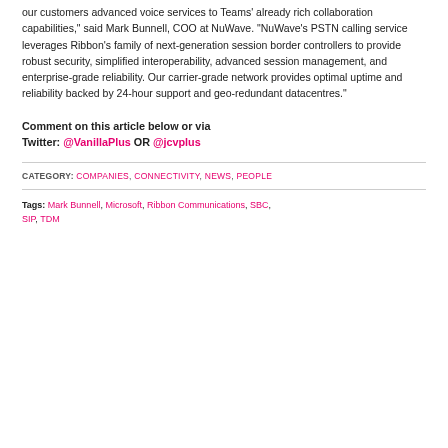NuWave is excited to work closely with Ribbon to deliver our customers advanced voice services to Teams' already rich collaboration capabilities," said Mark Bunnell, COO at NuWave. "NuWave's PSTN calling service leverages Ribbon's family of next-generation session border controllers to provide robust security, simplified interoperability, advanced session management, and enterprise-grade reliability. Our carrier-grade network provides optimal uptime and reliability backed by 24-hour support and geo-redundant datacentres."
Comment on this article below or via Twitter: @VanillaPlus OR @jcvplus
CATEGORY: COMPANIES, CONNECTIVITY, NEWS, PEOPLE
Tags: Mark Bunnell, Microsoft, Ribbon Communications, SBC, SIP, TDM